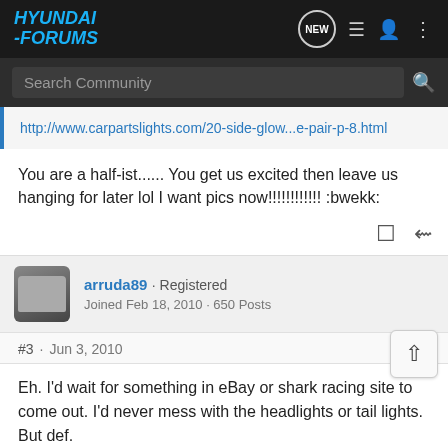HYUNDAI-FORUMS
Search Community
http://www.carpartslights.com/20-side-glow...e-pair-p-8.html
You are a half-ist...... You get us excited then leave us hanging for later lol I want pics now!!!!!!!!!!!! :bwekk:
arruda89 · Registered
Joined Feb 18, 2010 · 650 Posts
#3 · Jun 3, 2010
Eh. I'd wait for something in eBay or shark racing site to come out. I'd never mess with the headlights or tail lights. But def.